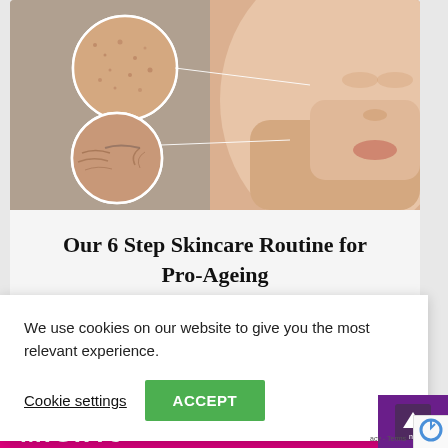[Figure (photo): Close-up of a woman's face with two circular magnified insets showing skin texture (pores/roughness) and fine lines/wrinkles near the eye, connected by thin white lines to the face]
Our 6 Step Skincare Routine for Pro-Ageing
We use cookies on our website to give you the most relevant experience.
Cookie settings   ACCEPT
[Figure (logo): Minute brand logo in pink/magenta text at the bottom of the page]
[Figure (other): Purple scroll-to-top button with upward arrow]
[Figure (other): reCAPTCHA badge partial view showing logo and 'racy - Terms' text]